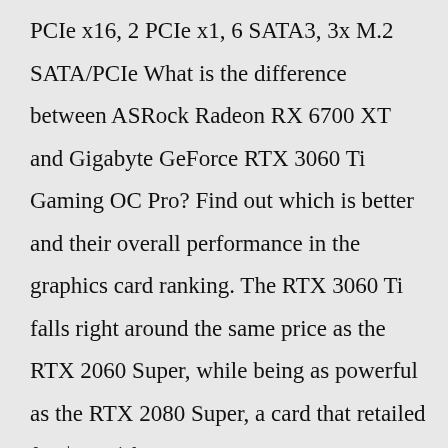PCIe x16, 2 PCIe x1, 6 SATA3, 3x M.2 SATA/PCIe What is the difference between ASRock Radeon RX 6700 XT and Gigabyte GeForce RTX 3060 Ti Gaming OC Pro? Find out which is better and their overall performance in the graphics card ranking. The RTX 3060 Ti falls right around the same price as the RTX 2060 Super, while being as powerful as the RTX 2080 Super, a card that retailed for $699 (about £560,